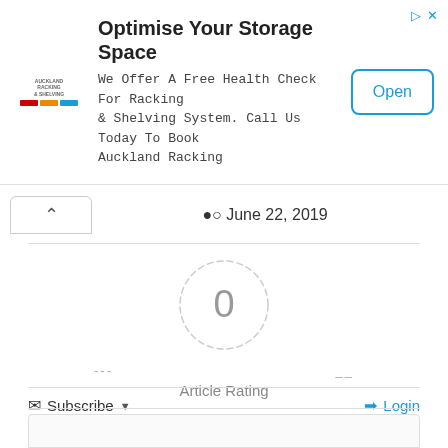[Figure (infographic): Advertisement banner: logo for Auckland Racking & Shelving, headline 'Optimise Your Storage Space', body text, and an Open button]
June 22, 2019
[Figure (infographic): Article Rating widget: dashed circle with '0' in center, dashes on sides, 'Article Rating' label, five empty stars below]
Subscribe
Login